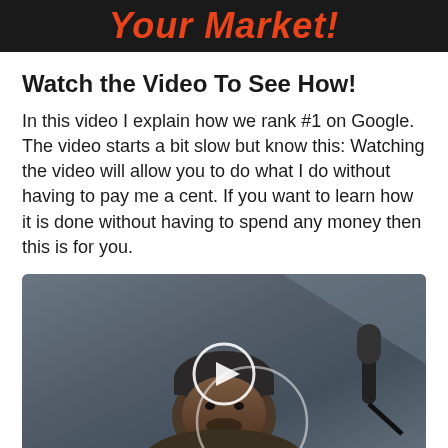Your Market!
Watch the Video To See How!
In this video I explain how we rank #1 on Google. The video starts a bit slow but know this: Watching the video will allow you to do what I do without having to pay me a cent. If you want to learn how it is done without having to spend any money then this is for you.
[Figure (photo): Video thumbnail showing a man wearing a dark beanie hat in front of a dark background with a microphone visible on the right side, with a circular play button overlay in the center]